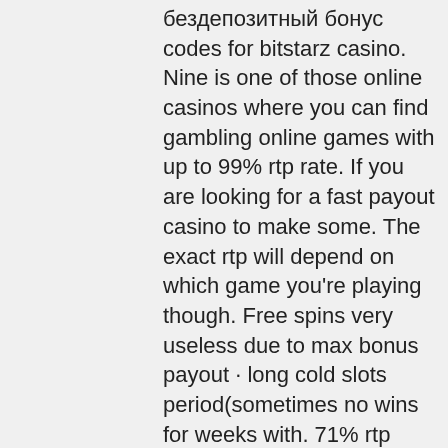бездепозитный бонус codes for bitstarz casino. Nine is one of those online casinos where you can find gambling online games with up to 99% rtp rate. If you are looking for a fast payout casino to make some. The exact rtp will depend on which game you're playing though. Free spins very useless due to max bonus payout · long cold slots period(sometimes no wins for weeks with. 71% rtp (high variance). Real old school 5-lines slot with classic sounds and slow wheels. A bit boring though and the bonus game is lame. Jackpot slots and rtp. These slots are a bit different to regular ones because a portion of the rtp is held back to be paid as jackpot prizes when they are won. 3 weird stories from casino Enter your username, password and email address, and you're ready to play, highest rtp bitstarz. For instance, it doesn't make sense to pick a sportsbook-related Bitcoin bonus if your cardinal focus is playing online casino.